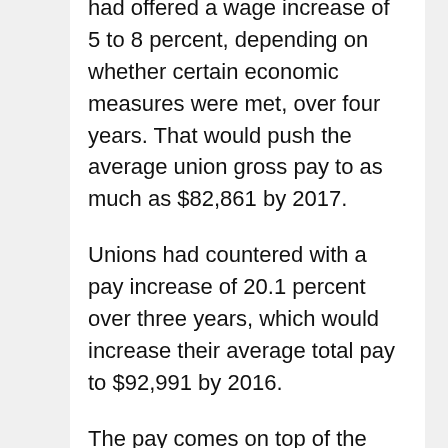had offered a wage increase of 5 to 8 percent, depending on whether certain economic measures were met, over four years. That would push the average union gross pay to as much as $82,861 by 2017.
Unions had countered with a pay increase of 20.1 percent over three years, which would increase their average total pay to $92,991 by 2016.
The pay comes on top of the benefits BART workers earn, which are among the best in the Bay Area and have eaten up half the extra revenue the agency has collected in the past